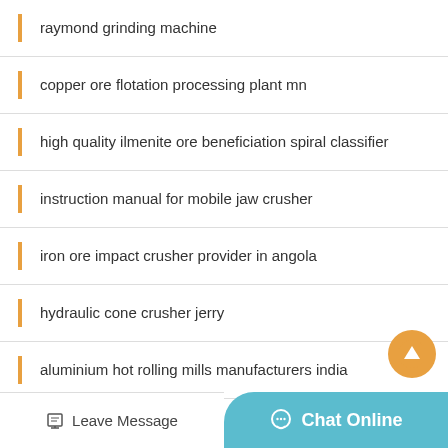raymond grinding machine
copper ore flotation processing plant mn
high quality ilmenite ore beneficiation spiral classifier
instruction manual for mobile jaw crusher
iron ore impact crusher provider in angola
hydraulic cone crusher jerry
aluminium hot rolling mills manufacturers india
hydraulic system for gyratory crusher
Leave Message   Chat Online